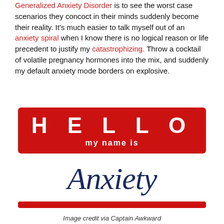Generalized Anxiety Disorder is to see the worst case scenarios they concoct in their minds suddenly become their reality. It's much easier to talk myself out of an anxiety spiral when I know there is no logical reason or life precedent to justify my catastrophizing. Throw a cocktail of volatile pregnancy hormones into the mix, and suddenly my default anxiety mode borders on explosive.
[Figure (illustration): A 'Hello my name is' nametag in red and white with the word 'Anxiety' written in dark navy cursive script in the name area, with a red bar at the bottom.]
Image credit via Captain Awkward